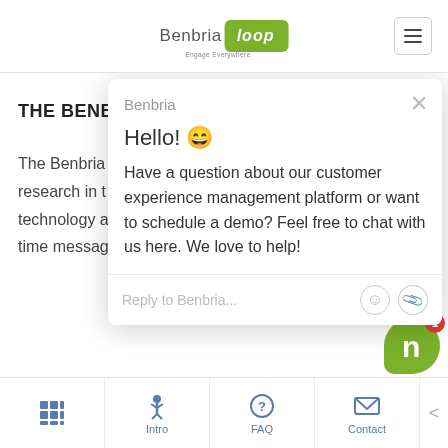[Figure (logo): Benbria Loop logo with 'Engage Everywhere' tagline and hamburger menu button]
THE BENBRIA BLO
The Benbria Blog c... research in the fiel... technology and be... time messaging an...
[Figure (screenshot): Benbria chat popup with Hello emoji greeting, message about customer experience management platform, reply input bar with emoji and paperclip icons]
[Figure (other): Benbria chat widget button (green rounded square with letter n) with red notification badge showing 1]
Intro  FAQ  Contact